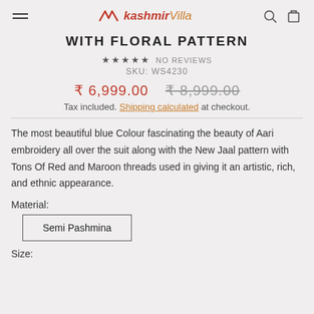kashmirVilla
WITH FLORAL PATTERN
★★★★★ NO REVIEWS
SKU: WS4230
₹ 6,999.00  ₹ 8,999.00
Tax included. Shipping calculated at checkout.
The most beautiful blue Colour fascinating the beauty of Aari embroidery all over the suit along with the New Jaal pattern with Tons Of Red and Maroon threads used in giving it an artistic, rich, and ethnic appearance.
Material:
Semi Pashmina
Size: